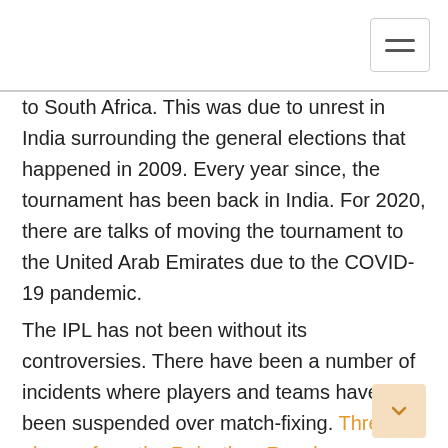to South Africa. This was due to unrest in India surrounding the general elections that happened in 2009. Every year since, the tournament has been back in India. For 2020, there are talks of moving the tournament to the United Arab Emirates due to the COVID-19 pandemic.
The IPL has not been without its controversies. There have been a number of incidents where players and teams have been suspended over match-fixing. Three players from the Rajasthan Royals were even arrested in 2013 over spot-fixing.
On a better note, the IPL has also broken records and major boundaries in the cricketing world. In fact, in 2010, the tournament became the first of its kind to ever be streamed live on YouTube.